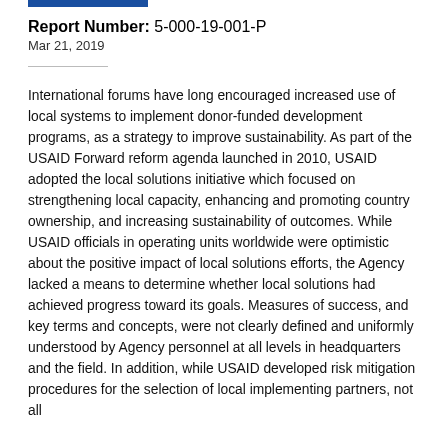Report Number: 5-000-19-001-P
Mar 21, 2019
International forums have long encouraged increased use of local systems to implement donor-funded development programs, as a strategy to improve sustainability. As part of the USAID Forward reform agenda launched in 2010, USAID adopted the local solutions initiative which focused on strengthening local capacity, enhancing and promoting country ownership, and increasing sustainability of outcomes. While USAID officials in operating units worldwide were optimistic about the positive impact of local solutions efforts, the Agency lacked a means to determine whether local solutions had achieved progress toward its goals. Measures of success, and key terms and concepts, were not clearly defined and uniformly understood by Agency personnel at all levels in headquarters and the field. In addition, while USAID developed risk mitigation procedures for the selection of local implementing partners, not all